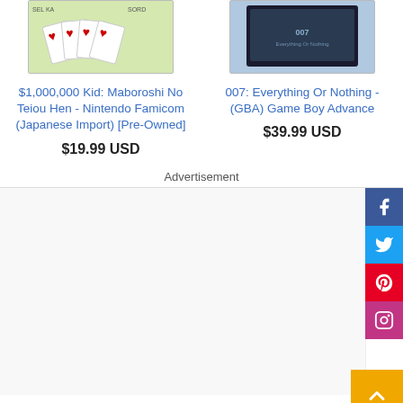[Figure (photo): Product image for $1,000,000 Kid card game - showing playing cards with hearts on green background with SEGA/SORD branding]
$1,000,000 Kid: Maboroshi No Teiou Hen - Nintendo Famicom (Japanese Import) [Pre-Owned]
$19.99 USD
[Figure (photo): Product image for 007: Everything Or Nothing GBA game - showing game cartridge/box with dark background]
007: Everything Or Nothing - (GBA) Game Boy Advance
$39.99 USD
Advertisement
[Figure (other): Advertisement area - empty white/light gray rectangle]
[Figure (other): Social media buttons: Facebook (blue), Twitter (light blue), Pinterest (red), Instagram (pink), and a back-to-top arrow button (gold/yellow)]